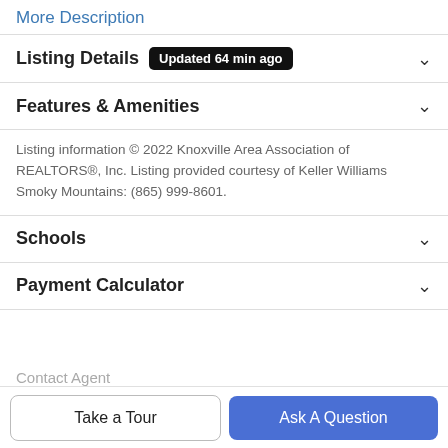More Description
Listing Details   Updated 64 min ago
Features & Amenities
Listing information © 2022 Knoxville Area Association of REALTORS®, Inc. Listing provided courtesy of Keller Williams Smoky Mountains: (865) 999-8601.
Schools
Payment Calculator
Contact Agent
Take a Tour
Ask A Question